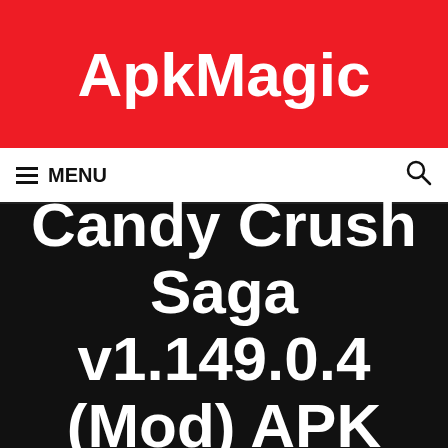ApkMagic
≡ MENU
Candy Crush Saga v1.149.0.4 (Mod) APK